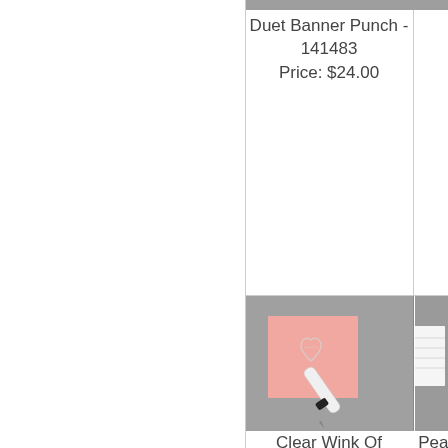Duet Banner Punch - 141483
Price: $24.00
Soft Sea Fo... Stampin... Blends Markers... Combo Pa... 148059...
Price: $12...
[Figure (photo): Photo of a pink card with a heart stamp and a white marker/pen on a gray background]
[Figure (photo): Photo of a white card on a gray background (partially visible)]
Clear Wink Of
Pearl Bas...